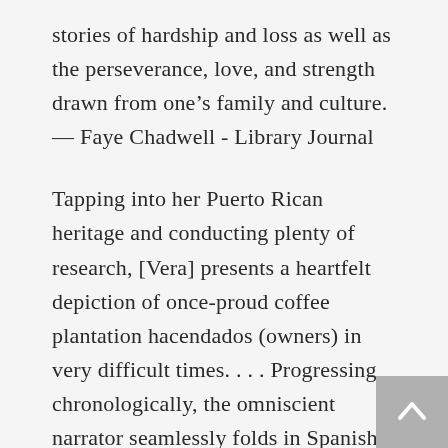stories of hardship and loss as well as the perseverance, love, and strength drawn from one's family and culture.
— Faye Chadwell - Library Journal
Tapping into her Puerto Rican heritage and conducting plenty of research, [Vera] presents a heartfelt depiction of once-proud coffee plantation hacendados (owners) in very difficult times. . . Progressing chronologically, the omniscient narrator seamlessly folds in Spanish words and phrases as well as epistolary interludes . . . Vera's novel is historical fiction at its best, featuring engaging survivors from a